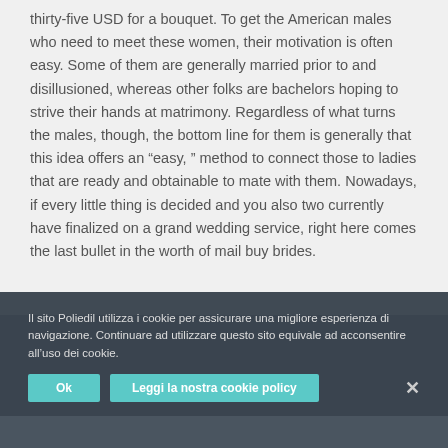thirty-five USD for a bouquet. To get the American males who need to meet these women, their motivation is often easy. Some of them are generally married prior to and disillusioned, whereas other folks are bachelors hoping to strive their hands at matrimony. Regardless of what turns the males, though, the bottom line for them is generally that this idea offers an “easy, ” method to connect those to ladies that are ready and obtainable to mate with them. Nowadays, if every little thing is decided and you also two currently have finalized on a grand wedding service, right here comes the last bullet in the worth of mail buy brides.
Greatest For Finding A pal With Positive aspects
You probably remember eHarmony from their
Il sito Poliedil utilizza i cookie per assicurare una migliore esperienza di navigazione. Continuare ad utilizzare questo sito equivale ad acconsentire all’uso dei cookie.